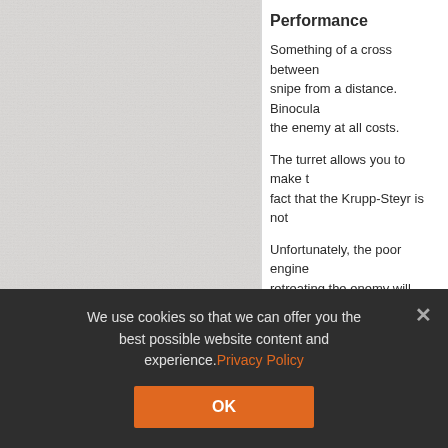[Figure (photo): Left panel with light grey textured/leather background]
Performance
Something of a cross between snipe from a distance. Binocula the enemy at all costs.
The turret allows you to make t fact that the Krupp-Steyr is not
Unfortunately, the poor engine retreating the enemy will overta key to success is stealth. This w city maps.
The two small viewports at the fatal vulnerability should you fir
Hence, like you should do with
We use cookies so that we can offer you the best possible website content and experience.​Privacy Policy
OK